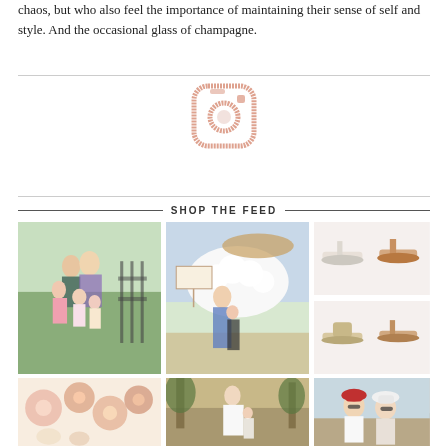chaos, but who also feel the importance of maintaining their sense of self and style. And the occasional glass of champagne.
[Figure (logo): Pink Instagram camera logo icon]
SHOP THE FEED
[Figure (photo): Family photo: man and woman with three young girls outdoors on grass near fence]
[Figure (photo): Woman with child at outdoor event with white flowers and sign in background]
[Figure (photo): Two pairs of women's sandals/mules on white background]
[Figure (photo): Retro floral pattern with dogs]
[Figure (photo): Woman in white outfit with child outdoors near trees]
[Figure (photo): Two women in winter hats smiling outdoors]